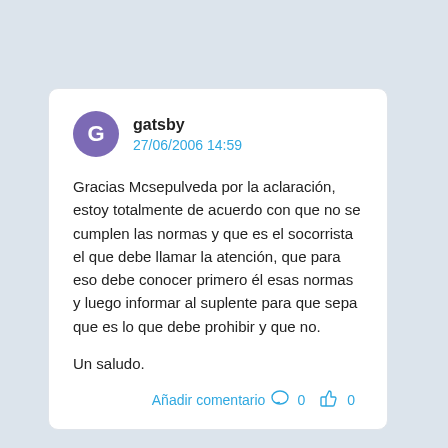gatsby
27/06/2006 14:59
Gracias Mcsepulveda por la aclaración, estoy totalmente de acuerdo con que no se cumplen las normas y que es el socorrista el que debe llamar la atención, que para eso debe conocer primero él esas normas y luego informar al suplente para que sepa que es lo que debe prohibir y que no.

Un saludo.
Añadir comentario 0 0